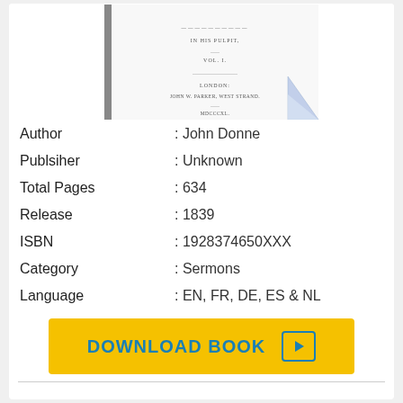[Figure (illustration): Partial view of an old book cover, showing title page text in antique typeface with a curled lower-right corner effect]
| Author | : John Donne |
| Publsiher | : Unknown |
| Total Pages | : 634 |
| Release | : 1839 |
| ISBN | : 1928374650XXX |
| Category | : Sermons |
| Language | : EN, FR, DE, ES & NL |
DOWNLOAD BOOK